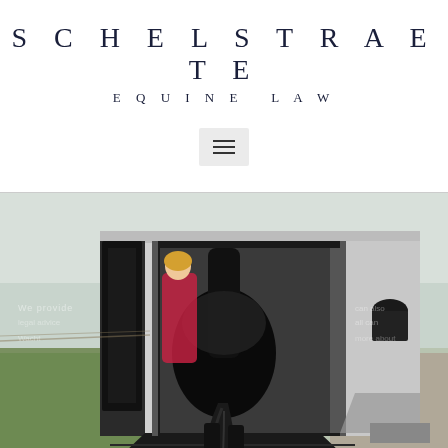SCHELSTRAETE
EQUINE LAW
[Figure (other): Hamburger menu icon button with three horizontal lines on a light gray background]
[Figure (photo): A black horse walking up the ramp into a horse trailer/horsebox. A woman in a pink jacket is visible inside the trailer. The setting is an outdoor farm area with green grass and flat landscape visible in the background.]